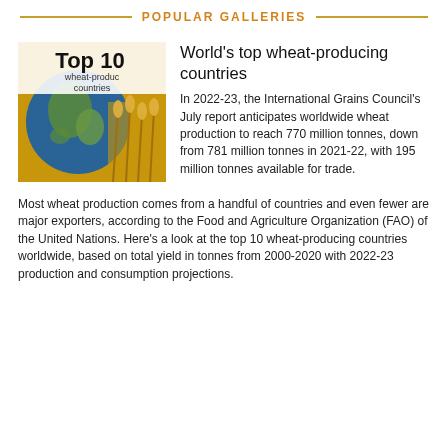POPULAR GALLERIES
[Figure (photo): Thumbnail image showing a globe with wheat in the background and text overlay reading 'Top 10 wheat-producing countries']
World's top wheat-producing countries
In 2022-23, the International Grains Council's July report anticipates worldwide wheat production to reach 770 million tonnes, down from 781 million tonnes in 2021-22, with 195 million tonnes available for trade.
Most wheat production comes from a handful of countries and even fewer are major exporters, according to the Food and Agriculture Organization (FAO) of the United Nations. Here's a look at the top 10 wheat-producing countries worldwide, based on total yield in tonnes from 2000-2020 with 2022-23 production and consumption projections.